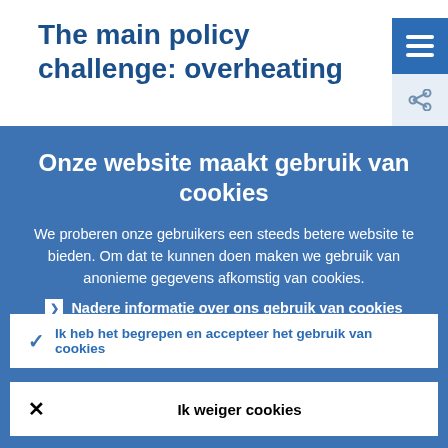The main policy challenge: overheating
[Figure (other): Hamburger menu button (blue square with three white horizontal lines) in the top right corner]
Onze website maakt gebruik van cookies
We proberen onze gebruikers een steeds betere website te bieden. Om dat te kunnen doen maken we gebruik van anonieme gegevens afkomstig van cookies.
▶ Nadere informatie over ons gebruik van cookies
✓ Ik heb het begrepen en accepteer het gebruik van cookies
✕ Ik weiger cookies